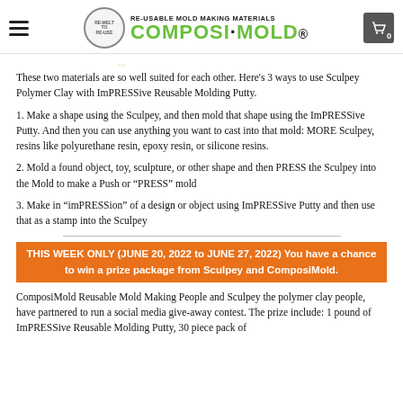RE-USABLE MOLD MAKING MATERIALS COMPOSI-MOLD
These two materials are so well suited for each other. Here's 3 ways to use Sculpey Polymer Clay with ImPRESSive Reusable Molding Putty.
1. Make a shape using the Sculpey, and then mold that shape using the ImPRESSive Putty. And then you can use anything you want to cast into that mold: MORE Sculpey, resins like polyurethane resin, epoxy resin, or silicone resins.
2. Mold a found object, toy, sculpture, or other shape and then PRESS the Sculpey into the Mold to make a Push or "PRESS" mold
3. Make in "imPRESSion" of a design or object using ImPRESSive Putty and then use that as a stamp into the Sculpey
THIS WEEK ONLY (JUNE 20, 2022 to JUNE 27, 2022) You have a chance to win a prize package from Sculpey and ComposiMold.
ComposiMold Reusable Mold Making People and Sculpey the polymer clay people, have partnered to run a social media give-away contest. The prize include: 1 pound of ImPRESSive Reusable Molding Putty, 30 piece pack of